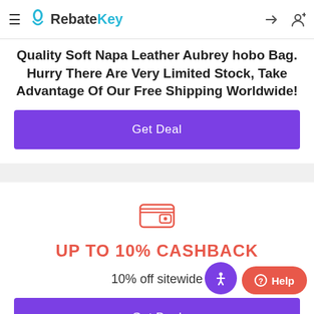RebateKey
Quality Soft Napa Leather Aubrey hobo Bag. Hurry There Are Very Limited Stock, Take Advantage Of Our Free Shipping Worldwide!
Get Deal
[Figure (illustration): Wallet icon in salmon/red color]
UP TO 10% CASHBACK
10% off sitewide
Get Deal